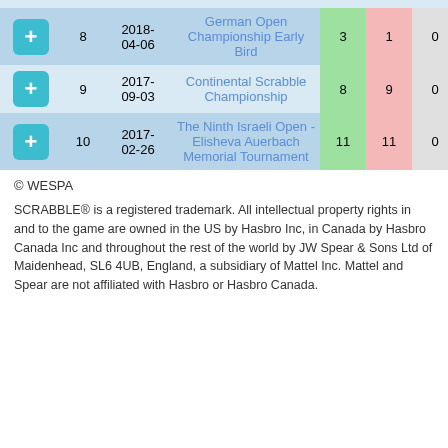|  | # | Date | Tournament | W | L | D | Spread |
| --- | --- | --- | --- | --- | --- | --- | --- |
| + | 8 | 2018-04-06 | German Open Championship Early Bird | 3 | 1 | 0 | 87 |
| + | 9 | 2017-09-03 | Continental Scrabble Championship | 8 | 9 | 0 | -3 |
| + | 10 | 2017-02-26 | The Ninth Israeli Open - Elisheva Auerbach Memorial Tournament | 11 | 11 | 0 | 27 |
© WESPA
SCRABBLE® is a registered trademark. All intellectual property rights in and to the game are owned in the US by Hasbro Inc, in Canada by Hasbro Canada Inc and throughout the rest of the world by JW Spear & Sons Ltd of Maidenhead, SL6 4UB, England, a subsidiary of Mattel Inc. Mattel and Spear are not affiliated with Hasbro or Hasbro Canada.